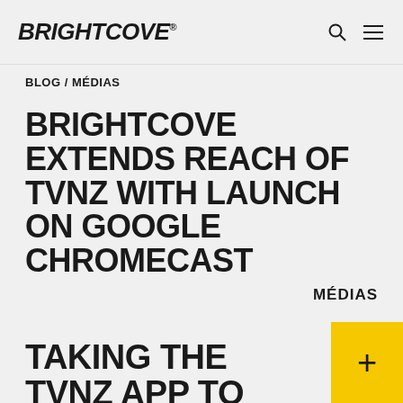BRIGHTCOVE®
BLOG / MÉDIAS
BRIGHTCOVE EXTENDS REACH OF TVNZ WITH LAUNCH ON GOOGLE CHROMECAST
MÉDIAS
TAKING THE TVNZ APP TO MORE DEVICES